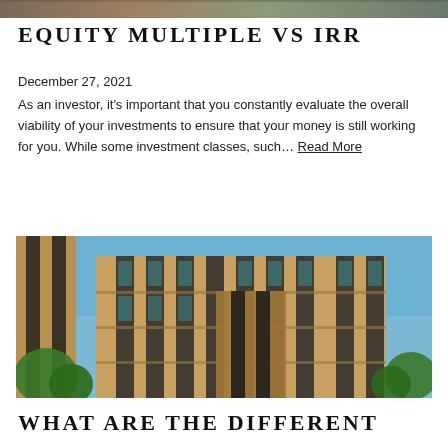[Figure (photo): Partial view of a building photo at the very top of the page, cropped]
EQUITY MULTIPLE VS IRR
December 27, 2021
As an investor, it's important that you constantly evaluate the overall viability of your investments to ensure that your money is still working for you. While some investment classes, such… Read More
[Figure (photo): Photo of a modern multi-story apartment or office building with brown wood-panel facade, large windows, and green trees in the foreground against a blue sky]
WHAT ARE THE DIFFERENT